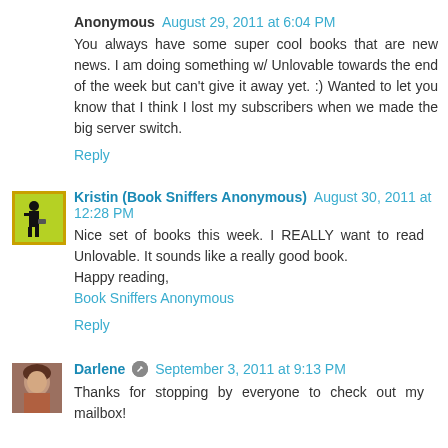Anonymous  August 29, 2011 at 6:04 PM
You always have some super cool books that are new news. I am doing something w/ Unlovable towards the end of the week but can't give it away yet. :) Wanted to let you know that I think I lost my subscribers when we made the big server switch.
Reply
Kristin (Book Sniffers Anonymous)  August 30, 2011 at 12:28 PM
Nice set of books this week. I REALLY want to read Unlovable. It sounds like a really good book.
Happy reading,
Book Sniffers Anonymous
Reply
Darlene  September 3, 2011 at 9:13 PM
Thanks for stopping by everyone to check out my mailbox!